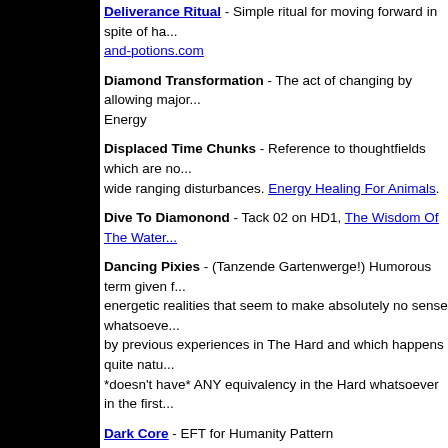Deliverance Ritual - Simple ritual for moving forward in spite of ha... and-potions.com
Diamond Transformation - The act of changing by allowing major... Energy
Displaced Time Chunks - Reference to thoughtfields which are no... wide ranging disturbances. Energy Healing For Animals.
Dive To Diamonond - Tack 02 on HD1, The Wisdom Of The Water...
Dancing Pixies - (Tanzende Gartenwerge!) Humorous term given f... energetic realities that seem to make absolutely no sense whatsoeve... by previous experiences in The Hard and which happens quite natu... *doesn't have* ANY equivalency in the Hard whatsoever in the first...
Dark Core - EFT for Humanity Pattern
Dark Energy Systems - Energy Healing For Animals
Darling - Revolutionary and controversial evocation. Track 07 from...
Deep Sea Jewels - Fairy Tale, metaphor and an important teaching...
Dragon Lords - Novel by Silvia Hartmann. The Naked Writer proje...
The Dreamer - Motivational, inspirational speech about human cre...
Dream Lover - See Autogenic Relationships.
EFT FreeFlow - An evolved version of EFT that includes streaming... Originally derived from the MindMillion protocols, which are the...